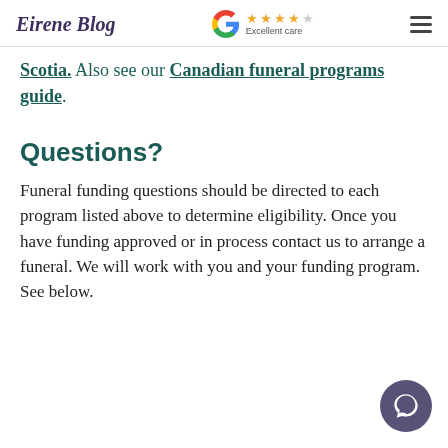Eirene Blog | Google — Excellent care
Scotia. Also see our Canadian funeral programs guide.
Questions?
Funeral funding questions should be directed to each program listed above to determine eligibility. Once you have funding approved or in process contact us to arrange a funeral. We will work with you and your funding program. See below.